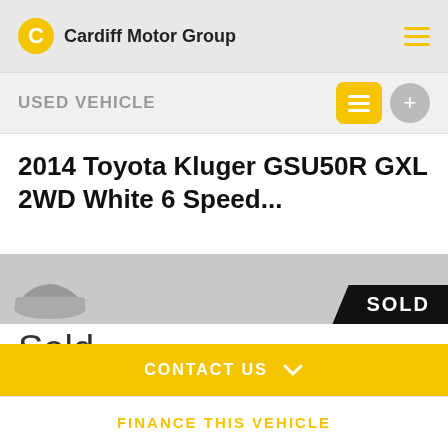Cardiff Motor Group
USED VEHICLE
2014 Toyota Kluger GSU50R GXL 2WD White 6 Speed...
[Figure (photo): Partial car image with SOLD badge overlay in black]
Sold
69,992
3.5L
CONTACT US
6 Speed
Petrol
FINANCE THIS VEHICLE